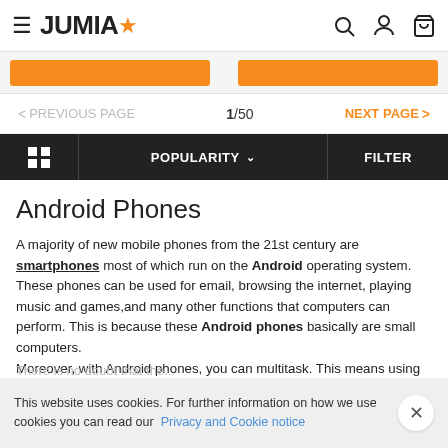JUMIA
[Figure (screenshot): Orange buttons in product listing area]
PREVIOUS PAGE  1/50  NEXT PAGE
[Figure (screenshot): Toolbar with grid icon, POPULARITY dropdown, and FILTER button]
Android Phones
A majority of new mobile phones from the 21st century are smartphones most of which run on the Android operating system. These phones can be used for email, browsing the internet, playing music and games,and many other functions that computers can perform. This is because these Android phones basically are small computers.
Moreover, with Android phones, you can multitask. This means using different apps on your phone all at the same time. There is also an ease of notification with SMS, e-mails and other applications. Android phones usually come with an app market or store where you have easy access to a wide variety of applications for you to download freely.
This website uses cookies. For further information on how we use cookies you can read our Privacy and Cookie notice